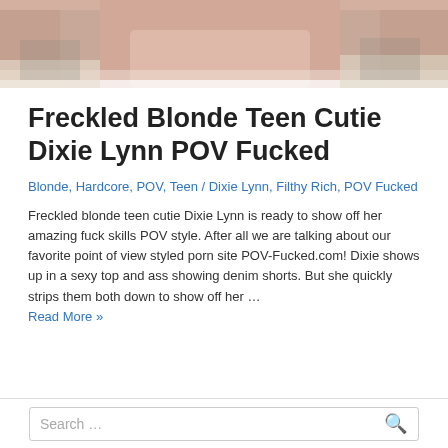[Figure (photo): Cropped photo of a person in denim shorts near a couch with patterned cushions]
Freckled Blonde Teen Cutie Dixie Lynn POV Fucked
Blonde, Hardcore, POV, Teen / Dixie Lynn, Filthy Rich, POV Fucked
Freckled blonde teen cutie Dixie Lynn is ready to show off her amazing fuck skills POV style. After all we are talking about our favorite point of view styled porn site POV-Fucked.com! Dixie shows up in a sexy top and ass showing denim shorts. But she quickly strips them both down to show off her … Read More »
Search …